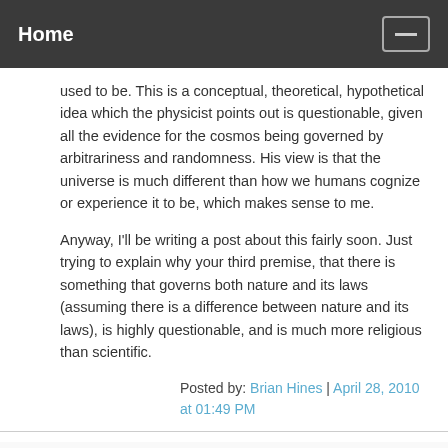Home
used to be. This is a conceptual, theoretical, hypothetical idea which the physicist points out is questionable, given all the evidence for the cosmos being governed by arbitrariness and randomness. His view is that the universe is much different than how we humans cognize or experience it to be, which makes sense to me.
Anyway, I'll be writing a post about this fairly soon. Just trying to explain why your third premise, that there is something that governs both nature and its laws (assuming there is a difference between nature and its laws), is highly questionable, and is much more religious than scientific.
Posted by: Brian Hines | April 28, 2010 at 01:49 PM
tAo you still way off beam, and promoting your own personal axe (ego) that you so love to grind.